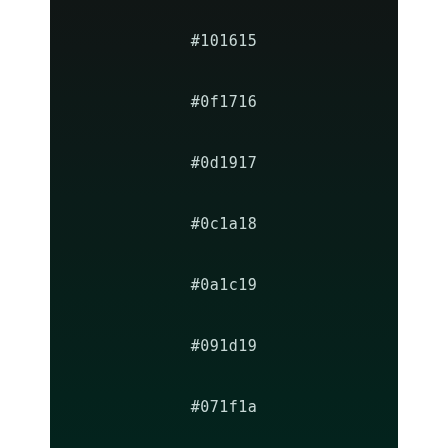#101615
#0f1716
#0d1917
#0c1a18
#0a1c19
#091d19
#071f1a
#06201b
#04221c